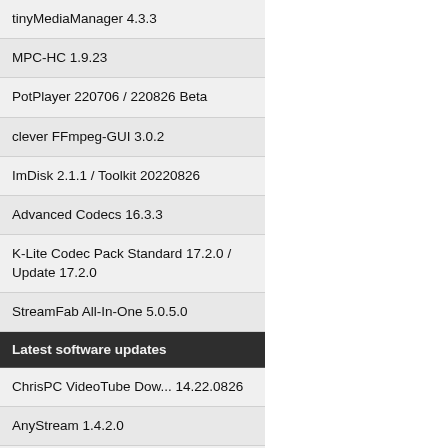tinyMediaManager 4.3.3
MPC-HC 1.9.23
PotPlayer 220706 / 220826 Beta
clever FFmpeg-GUI 3.0.2
ImDisk 2.1.1 / Toolkit 20220826
Advanced Codecs 16.3.3
K-Lite Codec Pack Standard 17.2.0 / Update 17.2.0
StreamFab All-In-One 5.0.5.0
Latest software updates
ChrisPC VideoTube Dow... 14.22.0826
AnyStream 1.4.2.0
Mirillis Action! 4.29.3
MPC Video Renderer 0.6.3.1956
AIMP 5.03.2398
NVEnc 6.10
KMPlayer 2022.8.25.13